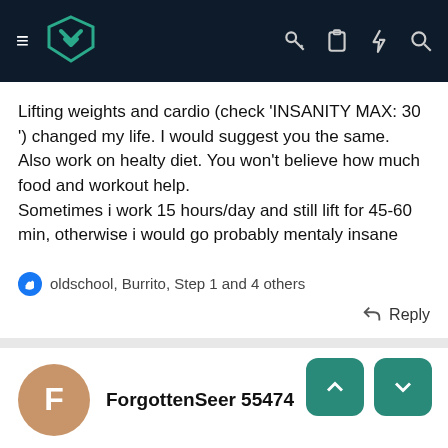[Figure (screenshot): Mobile app navigation bar with hamburger menu, teal shield logo, and icons for key, clipboard, lightning, and search on dark navy background]
Lifting weights and cardio (check 'INSANITY MAX: 30 ') changed my life. I would suggest you the same.
Also work on healty diet. You won't believe how much food and workout help.
Sometimes i work 15 hours/day and still lift for 45-60 min, otherwise i would go probably mentaly insane
oldschool, Burrito, Step 1 and 4 others
Reply
ForgottenSeer 55474